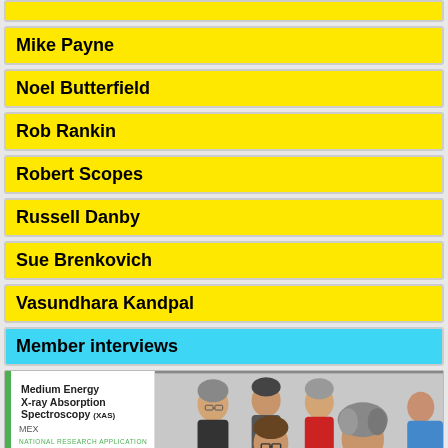Mike Payne
Noel Butterfield
Rob Rankin
Robert Scopes
Russell Danby
Sue Brenkovich
Vasundhara Kandpal
Member interviews
[Figure (photo): Group photo of several people standing together next to a sign for 'Medium Energy X-ray Absorption Spectroscopy (XAS) MEX' with a green bar on the left side of the sign]